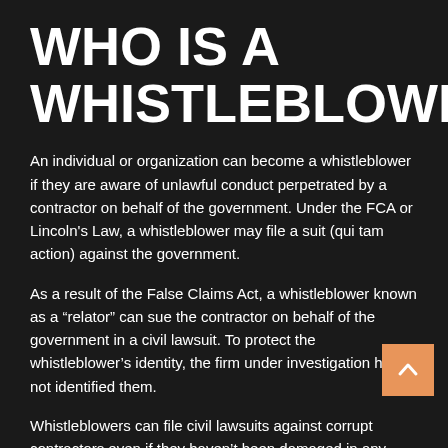WHO IS A WHISTLEBLOWER?
An individual or organization can become a whistleblower if they are aware of unlawful conduct perpetrated by a contractor on behalf of the government. Under the FCA or Lincoln’s Law, a whistleblower may file a suit (qui tam action) against the government.
As a result of the False Claims Act, a whistleblower known as a “relator” can sue the contractor on behalf of the government in a civil lawsuit. To protect the whistleblower’s identity, the firm under investigation has not identified them.
Whistleblowers can file civil lawsuits against corrupt contractors even if they haven’t been damaged in any manner, unlike federal civil cases in the U.S.
Whistleblowers can be anyone who has knowledge and proof